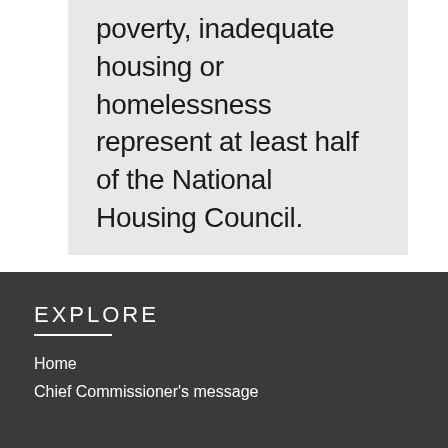poverty, inadequate housing or homelessness represent at least half of the National Housing Council.
EXPLORE
Home
Chief Commissioner's message